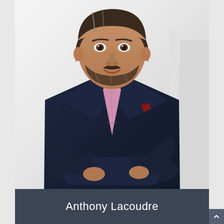[Figure (photo): Professional headshot of a middle-aged man with salt-and-pepper hair and beard, wearing a dark navy blazer, light blue checked shirt, and pink tie with arms crossed, against a light background]
Anthony Lacoudre